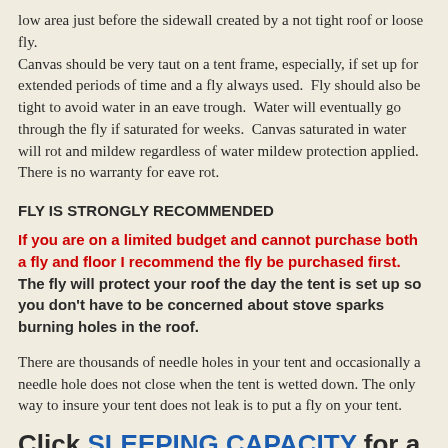low area just before the sidewall created by a not tight roof or loose fly.
Canvas should be very taut on a tent frame, especially, if set up for extended periods of time and a fly always used.  Fly should also be tight to avoid water in an eave trough.  Water will eventually go through the fly if saturated for weeks.  Canvas saturated in water will rot and mildew regardless of water mildew protection applied. There is no warranty for eave rot.
FLY IS STRONGLY RECOMMENDED
If you are on a limited budget and cannot purchase both a fly and floor I recommend the fly be purchased first.  The fly will protect your roof the day the tent is set up so you don't have to be concerned about stove sparks burning holes in the roof.
There are thousands of needle holes in your tent and occasionally a needle hole does not close when the tent is wetted down. The only way to insure your tent does not leak is to put a fly on your tent.
Click SLEEPING CAPACITY for a description of